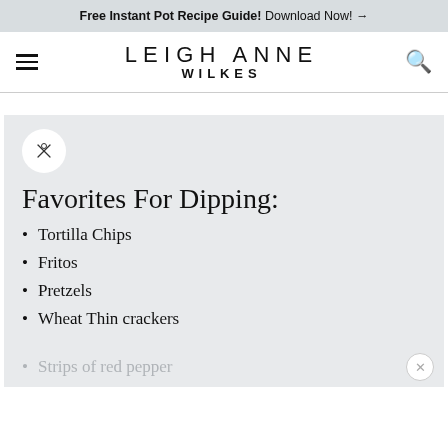Free Instant Pot Recipe Guide! Download Now! →
LEIGH ANNE WILKES
Favorites For Dipping:
Tortilla Chips
Fritos
Pretzels
Wheat Thin crackers
Strips of red pepper